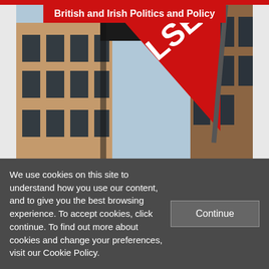British and Irish Politics and Policy
[Figure (photo): Upward angled photo of LSE (London School of Economics) red triangular sign/banner with white letters 'LSE' against a background of a brick and glass building facade and blue sky]
Book Review: Campaign Communication and Political Marketing
We use cookies on this site to understand how you use our content, and to give you the best browsing experience. To accept cookies, click continue. To find out more about cookies and change your preferences, visit our Cookie Policy.